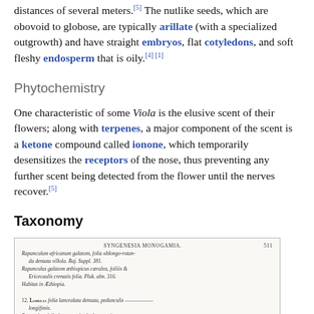distances of several meters.[5] The nutlike seeds, which are obovoid to globose, are typically arillate (with a specialized outgrowth) and have straight embryos, flat cotyledons, and soft fleshy endosperm that is oily.[4][1]
Phytochemistry
One characteristic of some Viola is the elusive scent of their flowers; along with terpenes, a major component of the scent is a ketone compound called ionone, which temporarily desensitizes the receptors of the nose, thus preventing any further scent being detected from the flower until the nerves recover.[5]
Taxonomy
[Figure (illustration): Scanned page from an old botanical text showing SYNGENESIA MONOGAMIA heading with entries about Rapunculus africanum galatom and Lobelia species in Latin, page 511.]